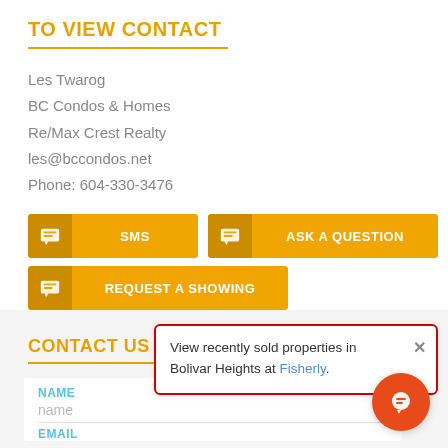TO VIEW CONTACT
Les Twarog
BC Condos & Homes
Re/Max Crest Realty
les@bccondos.net
Phone: 604-330-3476
SMS
ASK A QUESTION
REQUEST A SHOWING
CONTACT US
View recently sold properties in Bolivar Heights at Fisherly.
NAME
name
EMAIL